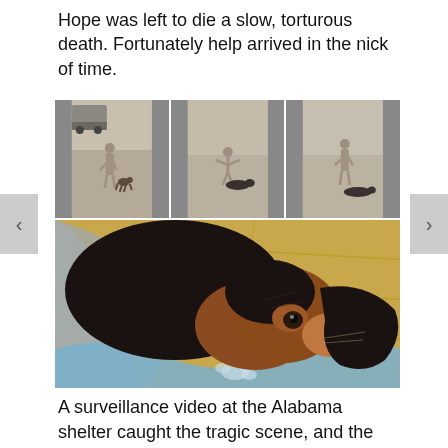Hope was left to die a slow, torturous death. Fortunately help arrived in the nick of time.
[Figure (photo): A composite of four video stills showing a dog rescue scene at an outdoor dirt area. Top row: three surveillance-style frames showing a person and a dog lying on the ground; bottom large frame: a close-up of a black and tan dog lying on a blanket being cared for.]
A surveillance video at the Alabama shelter caught the tragic scene, and the